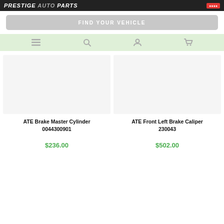PRESTIGE AUTO PARTS
FIND YOUR VEHICLE
[Figure (screenshot): Navigation bar with menu, search, account, and cart icons on a light green background]
ATE Brake Master Cylinder 0044300901
$236.00
ATE Front Left Brake Caliper 230043
$502.00